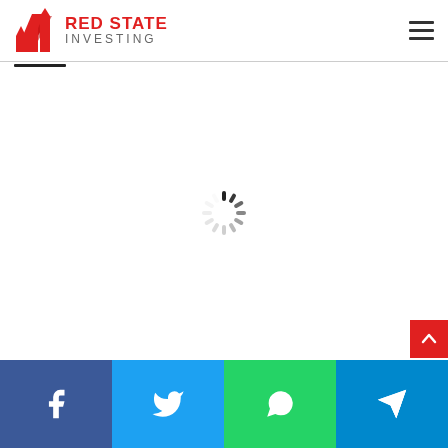[Figure (logo): Red State Investing logo with red arrow icon and text RED STATE INVESTING]
[Figure (screenshot): Loading spinner (spinning wheel indicator) in the center of the page]
[Figure (infographic): Social share bar at bottom with Facebook, Twitter, WhatsApp, and Telegram buttons]